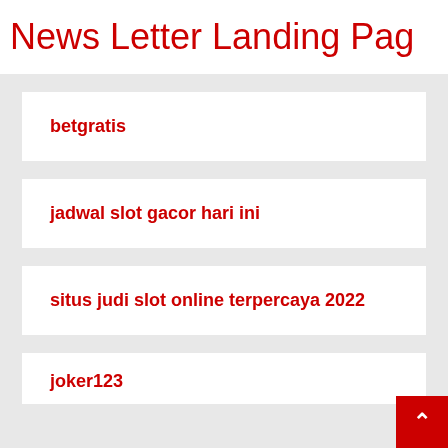News Letter Landing Pag
betgratis
jadwal slot gacor hari ini
situs judi slot online terpercaya 2022
joker123